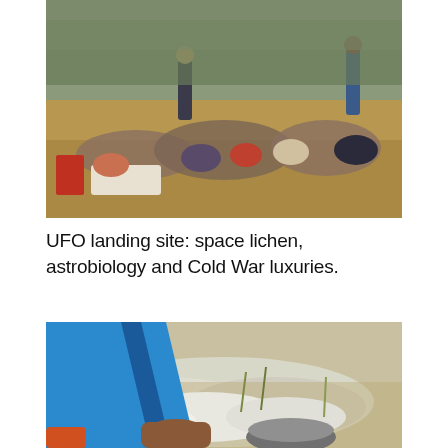[Figure (photo): Group of people sitting and standing outdoors in a dry scrubland field with brown dry grass and bare shrubs, appearing to be at some kind of outdoor gathering or field trip. A red flag or cloth is visible on the left side.]
UFO landing site: space lichen, astrobiology and Cold War luxuries.
[Figure (photo): Close-up of a person's hand in a bright blue jacket sleeve reaching down to touch or examine white lichen or moss growing on sandy ground. A grey bowl or dish is visible at the bottom right.]